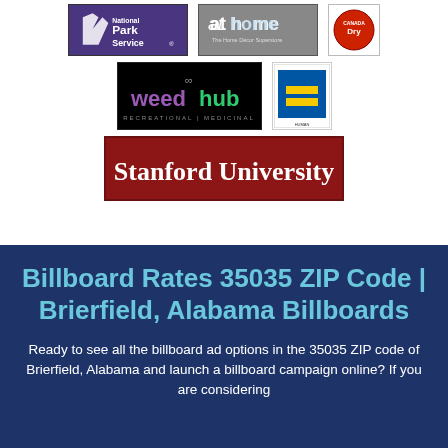[Figure (logo): National Park Service logo - purple background with NPS arrowhead and text 'National Park Service']
[Figure (logo): at home - The Home Décor Superstore logo on grey background]
[Figure (logo): Canada Dry logo]
[Figure (logo): weedhub RECREATIONAL | MEDICINAL logo on black background]
[Figure (logo): Human Rights Campaign (HRC) equal sign logo]
[Figure (logo): Stanford University logo - white serif text on dark red/maroon background]
Billboard Rates 35035 ZIP Code | Brierfield, Alabama Billboards
Ready to see all the billboard ad options in the 35035 ZIP code of Brierfield, Alabama and launch a billboard campaign online? If you are considering